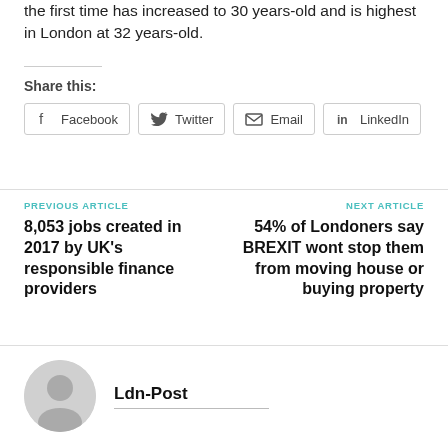the first time has increased to 30 years-old and is highest in London at 32 years-old.
Share this:
Facebook
Twitter
Email
LinkedIn
PREVIOUS ARTICLE
8,053 jobs created in 2017 by UK's responsible finance providers
NEXT ARTICLE
54% of Londoners say BREXIT wont stop them from moving house or buying property
Ldn-Post